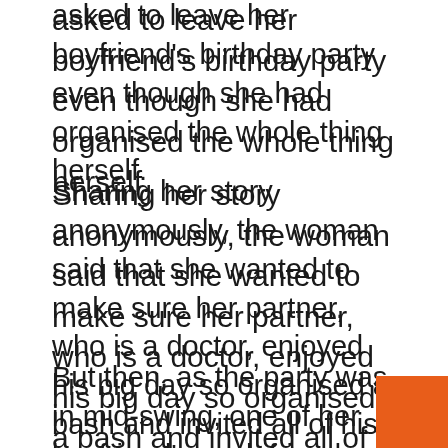asked to leave her boyfriend's birthday party even though she had organised the whole thing herself.
Sharing her story anonymously, the woman said that she wanted to make sure her partner, who is a doctor, enjoyed his big day so organised a bash and invited all of his friends.
But then, as the party was in mid-swing, one of her boyfriend's work friends approached her and asked her to leave – saying they all wanted to discuss something 'confidential'.
Now people have warned the woman to leave her boyfriend, saying he should have stuck up for her and that his actions look like a huge red flag to